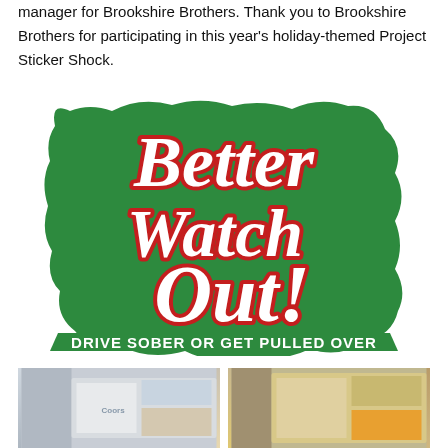manager for Brookshire Brothers. Thank you to Brookshire Brothers for participating in this year's holiday-themed Project Sticker Shock.
[Figure (illustration): Holiday-themed sticker logo: green background with red and white script text reading 'Better Watch Out!' and below in bold sans-serif 'DRIVE SOBER OR GET PULLED OVER']
[Figure (photo): Two photos side by side showing store shelves with alcohol products and Project Sticker Shock stickers applied]